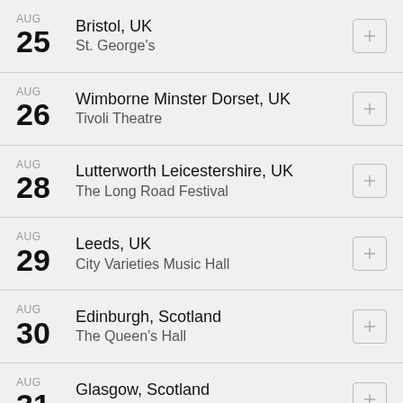AUG 25 Bristol, UK St. George's
AUG 26 Wimborne Minster Dorset, UK Tivoli Theatre
AUG 28 Lutterworth Leicestershire, UK The Long Road Festival
AUG 29 Leeds, UK City Varieties Music Hall
AUG 30 Edinburgh, Scotland The Queen's Hall
AUG 31 Glasgow, Scotland Community Central Hall